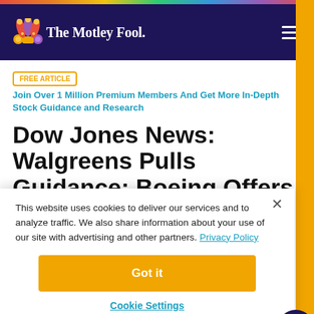[Figure (logo): The Motley Fool logo with jester hat icon on navy background header]
FREE ARTICLE  Join Over 1 Million Premium Members And Get More In-Depth Stock Guidance and Research
Dow Jones News: Walgreens Pulls Guidance; Boeing Offers Employee Buyouts
This website uses cookies to deliver our services and to analyze traffic. We also share information about your use of our site with advertising and other partners. Privacy Policy
Got it
Cookie Settings